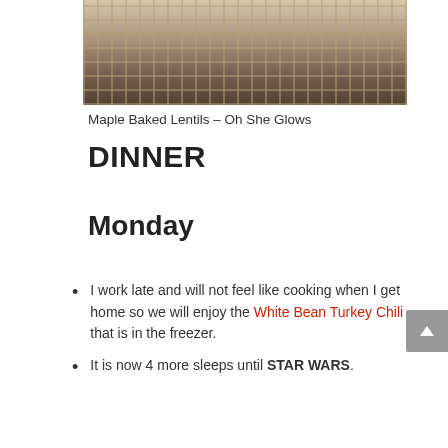[Figure (photo): Photo of a burlap/mesh textured fabric with fringe over driftwood, partial top crop visible]
Maple Baked Lentils – Oh She Glows
DINNER
Monday
I work late and will not feel like cooking when I get home so we will enjoy the White Bean Turkey Chili that is in the freezer.
It is now 4 more sleeps until STAR WARS.